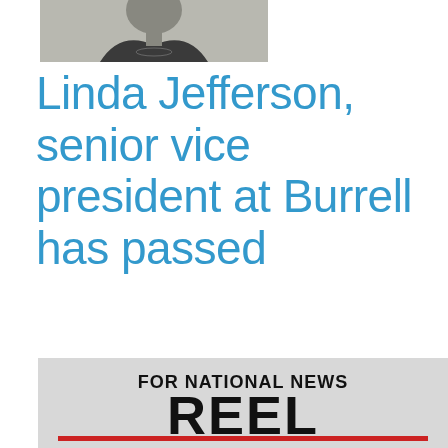[Figure (photo): Black and white portrait photo of a person wearing dark clothing, shoulders and head visible, with a light gray background.]
Linda Jefferson, senior vice president at Burrell has passed
[Figure (logo): Logo graphic on a light gray background reading 'FOR NATIONAL NEWS' above large bold text 'REEL' with a red horizontal line beneath it, and partial text below.]